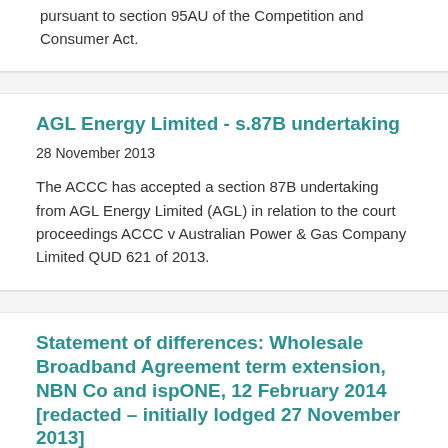pursuant to section 95AU of the Competition and Consumer Act.
AGL Energy Limited - s.87B undertaking
28 November 2013
The ACCC has accepted a section 87B undertaking from AGL Energy Limited (AGL) in relation to the court proceedings ACCC v Australian Power & Gas Company Limited QUD 621 of 2013.
Statement of differences: Wholesale Broadband Agreement term extension, NBN Co and ispONE, 12 February 2014 [redacted – initially lodged 27 November 2013]
27 November 2013
This statement of differences was given to the ACCC on 12 February 2014 by NBN Co in respect to an access